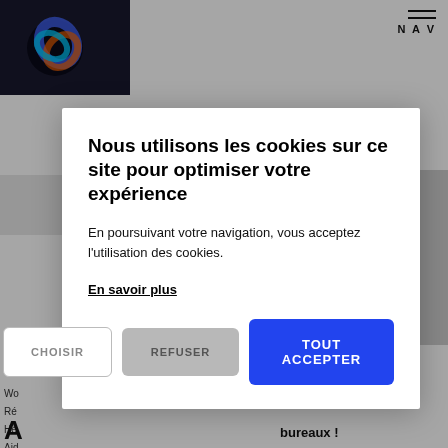[Figure (screenshot): Website background partially visible with logo, navigation, search bar, and partially truncated text content behind a cookie consent modal overlay]
Nous utilisons les cookies sur ce site pour optimiser votre expérience
En poursuivant votre navigation, vous acceptez l'utilisation des cookies.
En savoir plus
CHOISIR
REFUSER
TOUT ACCEPTER